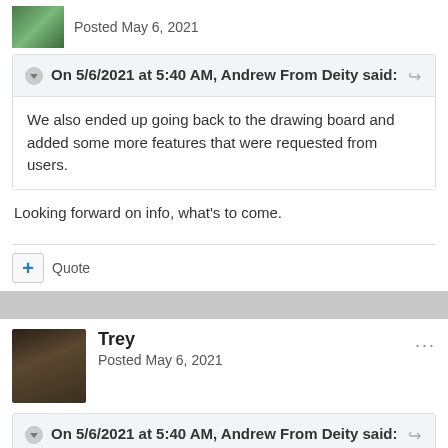Posted May 6, 2021
On 5/6/2021 at 5:40 AM, Andrew From Deity said:
We also ended up going back to the drawing board and added some more features that were requested from users.
Looking forward on info, what's to come.
+ Quote
Trey
Posted May 6, 2021
On 5/6/2021 at 5:40 AM, Andrew From Deity said: